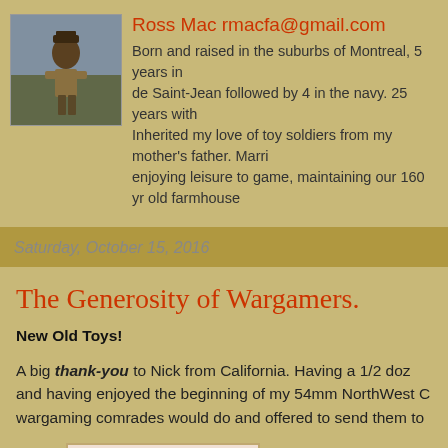[Figure (photo): Profile photo of a person in historical military uniform]
Ross Mac rmacfa@gmail.com
Born and raised in the suburbs of Montreal, 5 years in de Saint-Jean followed by 4 in the navy. 25 years with Inherited my love of toy soldiers from my mother's father. Marri enjoying leisure to game, maintaining our 160 yr old farmhouse
Saturday, October 15, 2016
The Generosity of Wargamers.
New Old Toys!
A big thank-you to Nick from California. Having a 1/2 doz and having enjoyed the beginning of my 54mm NorthWest C wargaming comrades would do and offered to send them to
[Figure (photo): Partial photo visible at bottom of page, light pink/cream background with a dark diagonal line or object]